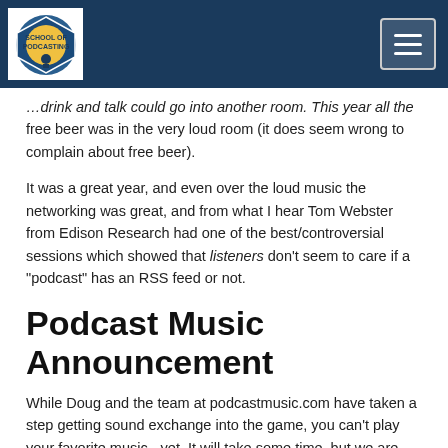School of Podcasting
…drink and talk could go into another room. This year all the free beer was in the very loud room (it does seem wrong to complain about free beer).
It was a great year, and even over the loud music the networking was great, and from what I hear Tom Webster from Edison Research had one of the best/controversial sessions which showed that listeners don't seem to care if a "podcast" has an RSS feed or not.
Podcast Music Announcement
While Doug and the team at podcastmusic.com have taken a step getting sound exchange into the game, you can't play your favorite music - yet. It will take some time, but we are headed  (slowly) in the right directions.
Pandora to Pay Podcasters?